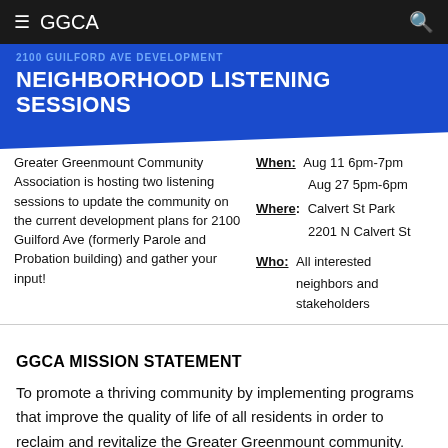GGCA
NEIGHBORHOOD LISTENING SESSIONS
Greater Greenmount Community Association is hosting two listening sessions to update the community on the current development plans for 2100 Guilford Ave (formerly Parole and Probation building) and gather your input!
When: Aug 11 6pm-7pm Aug 27 5pm-6pm Where: Calvert St Park 2201 N Calvert St Who: All interested neighbors and stakeholders
GGCA MISSION STATEMENT
To promote a thriving community by implementing programs that improve the quality of life of all residents in order to reclaim and revitalize the Greater Greenmount community.